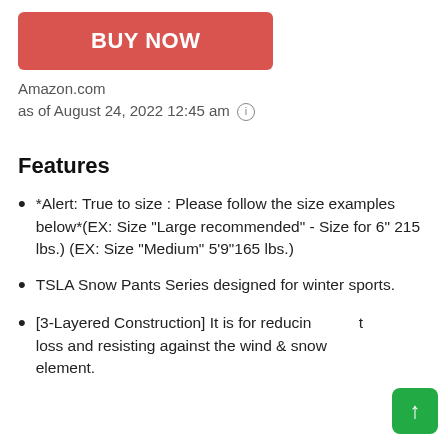BUY NOW
Amazon.com
as of August 24, 2022 12:45 am ⓘ
Features
*Alert: True to size : Please follow the size examples below*(EX: Size "Large recommended" - Size for 6" 215 lbs.) (EX: Size "Medium" 5'9"165 lbs.)
TSLA Snow Pants Series designed for winter sports.
[3-Layered Construction] It is for reducing heat loss and resisting against the wind & snow element.